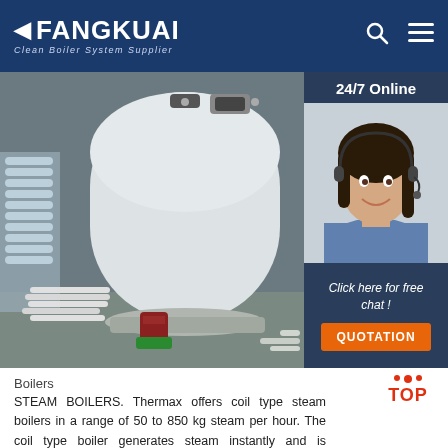FANGKUAI — Clean Boiler System Supplier
[Figure (photo): Photo of a large white cylindrical boiler unit on a factory floor with industrial pipes and materials visible. An inset panel on the right shows a customer service agent (24/7 Online), with options to click for free chat and a QUOTATION button.]
Boilers
STEAM BOILERS. Thermax offers coil type steam boilers in a range of 50 to 850 kg steam per hour. The coil type boiler generates steam instantly and is extremely easy to install and commission. These boilers are safe, reliable and designed to